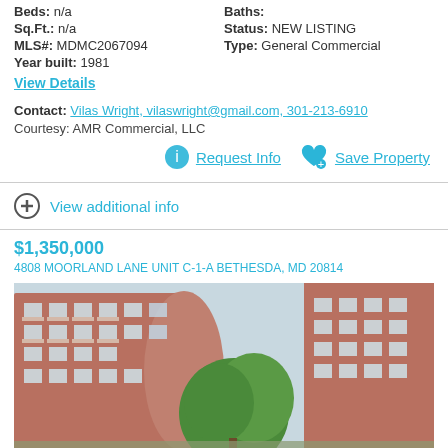Beds: n/a
Baths:
Sq.Ft.: n/a
Status: NEW LISTING
MLS#: MDMC2067094
Type: General Commercial
Year built: 1981
View Details
Contact: Vilas Wright, vilaswright@gmail.com, 301-213-6910
Courtesy: AMR Commercial, LLC
Request Info
Save Property
View additional info
$1,350,000
4808 MOORLAND LANE UNIT C-1-A BETHESDA, MD 20814
[Figure (photo): Exterior photo of a multi-story brick apartment or commercial building with balconies and a green tree in the foreground]